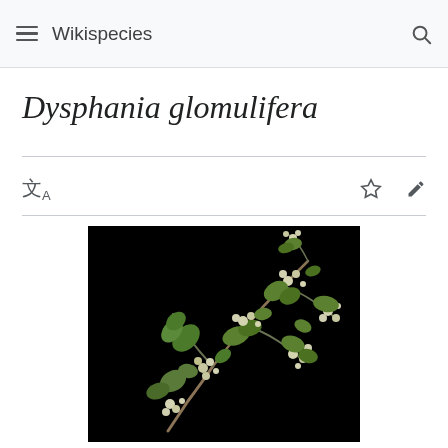Wikispecies
Dysphania glomulifera
[Figure (photo): Botanical photograph of Dysphania glomulifera plant branch with small white flowers and green leaves against a black background]